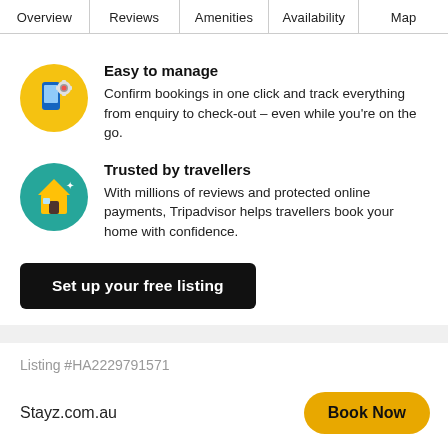Overview | Reviews | Amenities | Availability | Map
Easy to manage
Confirm bookings in one click and track everything from enquiry to check-out – even while you're on the go.
Trusted by travellers
With millions of reviews and protected online payments, Tripadvisor helps travellers book your home with confidence.
Set up your free listing
Listing #HA2229791571
Stayz.com.au | Book Now